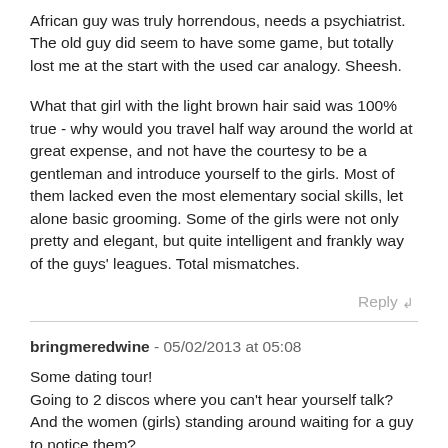African guy was truly horrendous, needs a psychiatrist. The old guy did seem to have some game, but totally lost me at the start with the used car analogy. Sheesh.
What that girl with the light brown hair said was 100% true - why would you travel half way around the world at great expense, and not have the courtesy to be a gentleman and introduce yourself to the girls. Most of them lacked even the most elementary social skills, let alone basic grooming. Some of the girls were not only pretty and elegant, but quite intelligent and frankly way of the guys' leagues. Total mismatches.
Reply ↲
bringmeredwine - 05/02/2013 at 05:08
Some dating tour!
Going to 2 discos where you can't hear yourself talk? And the women (girls) standing around waiting for a guy to notice them?